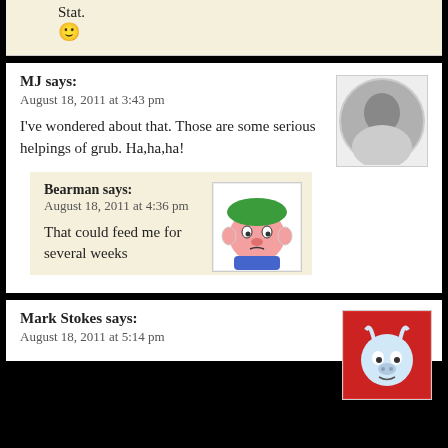Stat. 🙂
MJ says:
August 18, 2011 at 3:43 pm
I've wondered about that. Those are some serious helpings of grub. Ha,ha,ha!
Bearman says:
August 18, 2011 at 4:36 pm
That could feed me for several weeks
Mark Stokes says:
August 18, 2011 at 5:14 pm